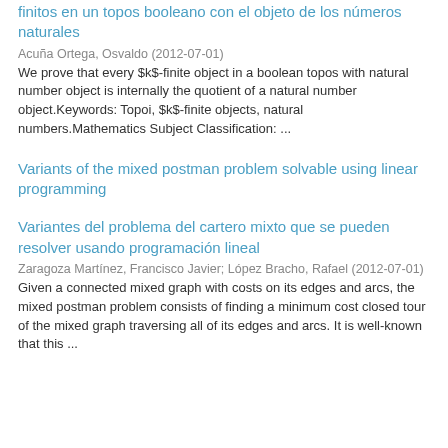finitos en un topos booleano con el objeto de los números naturales
Acuña Ortega, Osvaldo (2012-07-01)
We prove that every $k$-finite object in a boolean topos with natural number object is internally the quotient of a natural number object.Keywords: Topoi, $k$-finite objects, natural numbers.Mathematics Subject Classification: ...
Variants of the mixed postman problem solvable using linear programming
Variantes del problema del cartero mixto que se pueden resolver usando programación lineal
Zaragoza Martínez, Francisco Javier; López Bracho, Rafael (2012-07-01)
Given a connected mixed graph with costs on its edges and arcs, the mixed postman problem consists of finding a minimum cost closed tour of the mixed graph traversing all of its edges and arcs. It is well-known that this ...